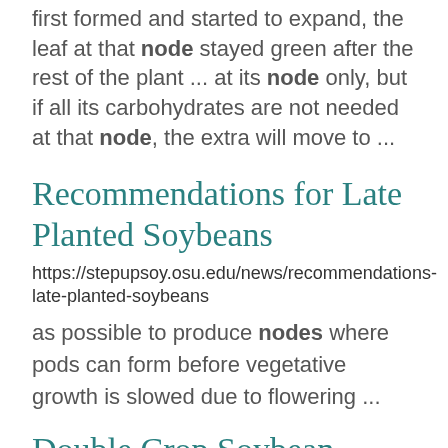first formed and started to expand, the leaf at that node stayed green after the rest of the plant ... at its node only, but if all its carbohydrates are not needed at that node, the extra will move to ...
Recommendations for Late Planted Soybeans
https://stepupsoy.osu.edu/news/recommendations-late-planted-soybeans
as possible to produce nodes where pods can form before vegetative growth is slowed due to flowering ...
Double Crop Soybean Production